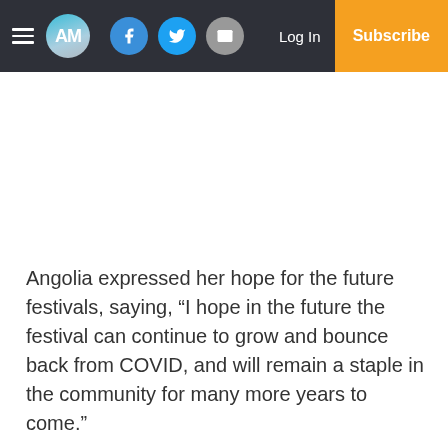AM | Log In | Subscribe
Angolia expressed her hope for the future festivals, saying, “I hope in the future the festival can continue to grow and bounce back from COVID, and will remain a staple in the community for many more years to come.”